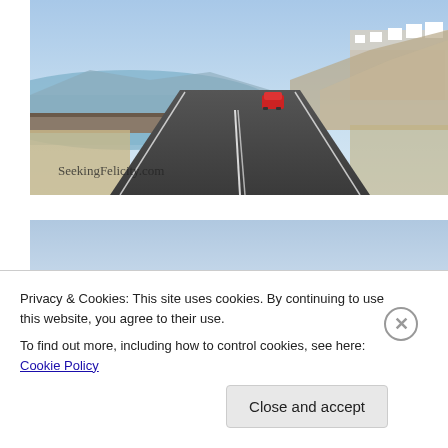[Figure (photo): A road in what appears to be Santorini, Greece. The road curves ahead with white lane markings; a red car is visible in the distance. On the left is a stone wall with a view of the sea and mountains; on the right is a white hilltop village. Watermark reads 'SeekingFelicity.com' in the lower left.]
[Figure (photo): A landscape photo showing a pale blue sky with light clouds, and in the lower portion, green trees with utility poles. The photo is partially obscured by a cookie consent banner overlaid at the bottom.]
Privacy & Cookies: This site uses cookies. By continuing to use this website, you agree to their use.
To find out more, including how to control cookies, see here: Cookie Policy
Close and accept